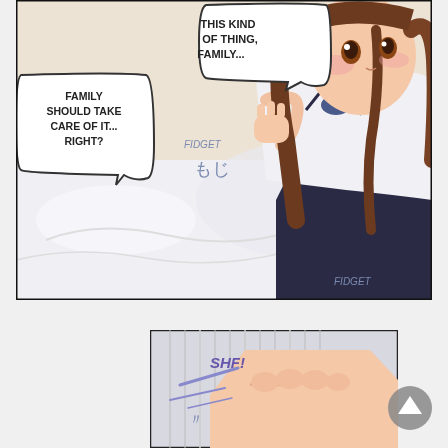[Figure (illustration): Manga panel showing a young woman in a school uniform (white sailor top, dark skirt) sitting on a bed with white sheets. She has long brown hair and is touching her chin thoughtfully. Two speech bubbles read 'THIS KIND OF THING, FAMILY...' and 'FAMILY SHOULD TAKE CARE OF IT... RIGHT?' Sound effect text 'FIDGET' and Japanese characters appear twice.]
[Figure (illustration): Small manga panel showing a close-up of a hand/fist with speed lines and the sound effect text 'SHF!']